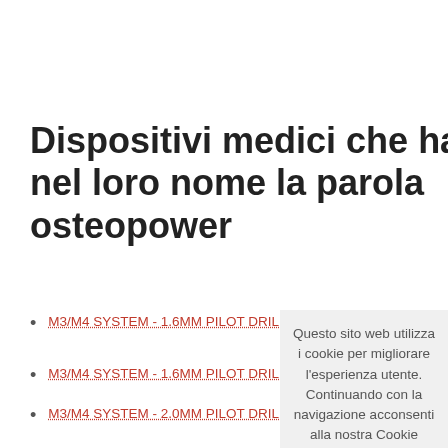Dispositivi medici che hanno nel loro nome la parola osteopower
M3/M4 SYSTEM - 1.6MM PILOT DRILL, CALIBRATED POINTED CANNULA, OSTEOPOWER - 220-0109
M3/M4 SYSTEM - 1.6MM PILOT DRILL, LONG CALIBRATED OSTEOPOWER - 220-0210
M3/M4 SYSTEM - 2.0MM PILOT DRILL, LONG CALIBRATED OSTEOPOWER - 220-0212
M3/M4 SYSTEM - 0.9MM PILOT DRILL, OSTEOPOWER - 220-0300
M3/M4 SYSTEM - 1.0MM PILOT DRILL, OSTEOPOWER
Questo sito web utilizza i cookie per migliorare l'esperienza utente. Continuando con la navigazione acconsenti alla nostra Cookie Policy. Altro...